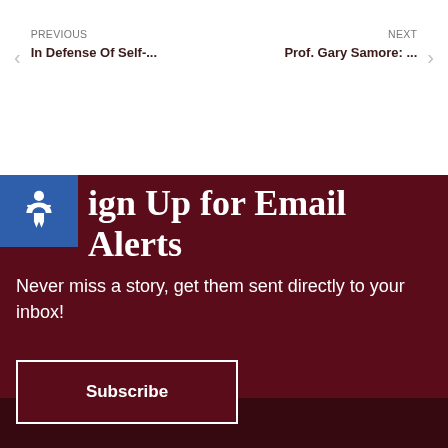PREVIOUS
In Defense Of Self-...
NEXT
Prof. Gary Samore: ...
Sign Up for Email Alerts
Never miss a story, get them sent directly to your inbox!
Subscribe